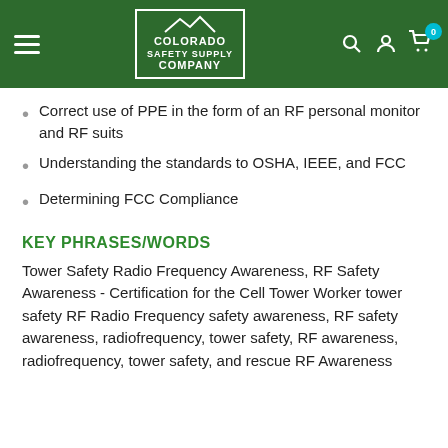Colorado Safety Supply Company
Correct use of PPE in the form of an RF personal monitor and RF suits
Understanding the standards to OSHA, IEEE, and FCC
Determining FCC Compliance
KEY PHRASES/WORDS
Tower Safety Radio Frequency Awareness, RF Safety Awareness - Certification for the Cell Tower Worker tower safety RF Radio Frequency safety awareness, RF safety awareness, radiofrequency, tower safety, RF awareness, radiofrequency, tower safety, and rescue RF Awareness